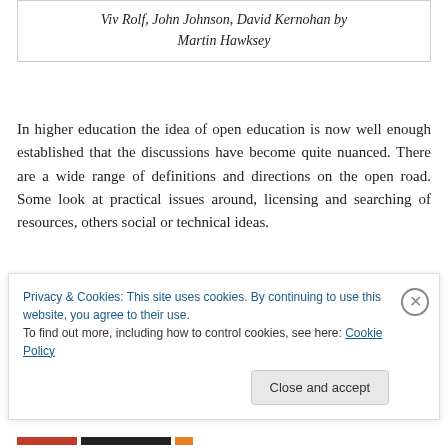Viv Rolf, John Johnson, David Kernohan by Martin Hawksey
In higher education the idea of open education is now well enough established that the discussions have become quite nuanced. There are a wide range of definitions and directions on the open road. Some look at practical issues around, licensing and searching of resources, others social or technical ideas.
Privacy & Cookies: This site uses cookies. By continuing to use this website, you agree to their use.
To find out more, including how to control cookies, see here: Cookie Policy
Close and accept